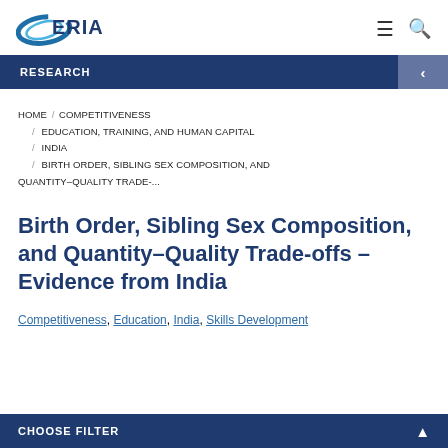[Figure (logo): ERIA logo with blue swoosh and text]
RESEARCH
HOME / COMPETITIVENESS / EDUCATION, TRAINING, AND HUMAN CAPITAL / INDIA / BIRTH ORDER, SIBLING SEX COMPOSITION, AND QUANTITY–QUALITY TRADE-...
Birth Order, Sibling Sex Composition, and Quantity–Quality Trade-offs – Evidence from India
Competitiveness, Education, India, Skills Development
CHOOSE FILTER